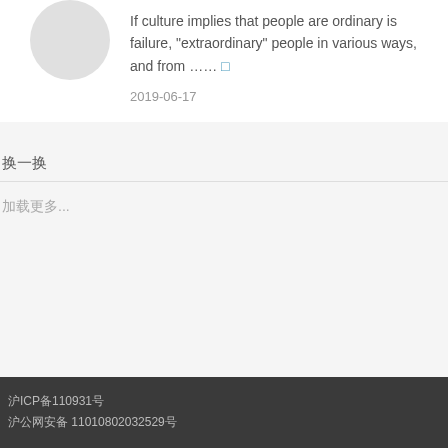If culture implies that people are ordinary is failure, "extraordinary" people in various ways, and from ……
2019-06-17
换一换
加载更多...
沪ICP备110931号
沪公网安备 11010802032529号